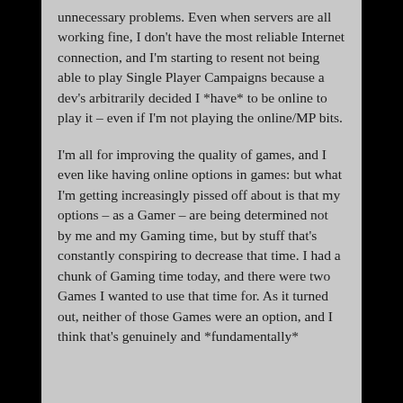unnecessary problems. Even when servers are all working fine, I don't have the most reliable Internet connection, and I'm starting to resent not being able to play Single Player Campaigns because a dev's arbitrarily decided I *have* to be online to play it – even if I'm not playing the online/MP bits.
I'm all for improving the quality of games, and I even like having online options in games: but what I'm getting increasingly pissed off about is that my options – as a Gamer – are being determined not by me and my Gaming time, but by stuff that's constantly conspiring to decrease that time. I had a chunk of Gaming time today, and there were two Games I wanted to use that time for. As it turned out, neither of those Games were an option, and I think that's genuinely and *fundamentally*